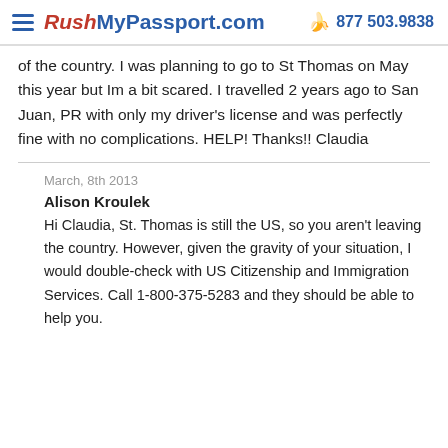RushMyPassport.com  877 503.9838
of the country. I was planning to go to St Thomas on May this year but Im a bit scared. I travelled 2 years ago to San Juan, PR with only my driver's license and was perfectly fine with no complications. HELP! Thanks!! Claudia
March, 8th 2013
Alison Kroulek
Hi Claudia, St. Thomas is still the US, so you aren't leaving the country. However, given the gravity of your situation, I would double-check with US Citizenship and Immigration Services. Call 1-800-375-5283 and they should be able to help you.